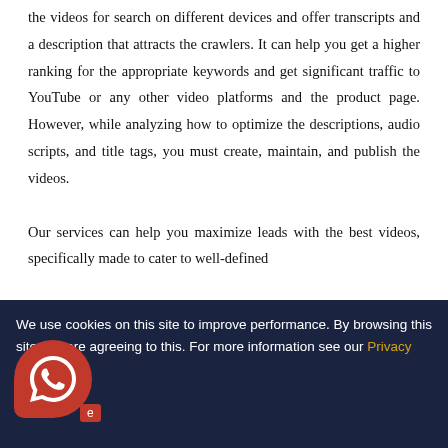Regardless of the business size, you have to optimize the videos for search on different devices and offer transcripts and a description that attracts the crawlers. It can help you get a higher ranking for the appropriate keywords and get significant traffic to YouTube or any other video platforms and the product page. However, while analyzing how to optimize the descriptions, audio scripts, and title tags, you must create, maintain, and publish the videos.

Our services can help you maximize leads with the best videos, specifically made to cater to well-defined
We use cookies on this site to improve performance. By browsing this site you are agreeing to this. For more information see our Privacy P...